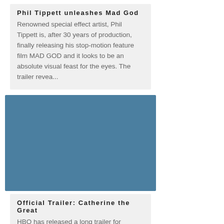Phil Tippett unleashes Mad God
Renowned special effect artist, Phil Tippett is, after 30 years of production, finally releasing his stop-motion feature film MAD GOD and it looks to be an absolute visual feast for the eyes. The trailer revea...
[Figure (photo): A solid steel-blue/teal colored rectangle representing a video thumbnail placeholder for Catherine the Great trailer]
Official Trailer: Catherine the Great
HBO has released a long trailer for upcoming mini series Catherine the Great starring Helen Mirren. The VFX are created